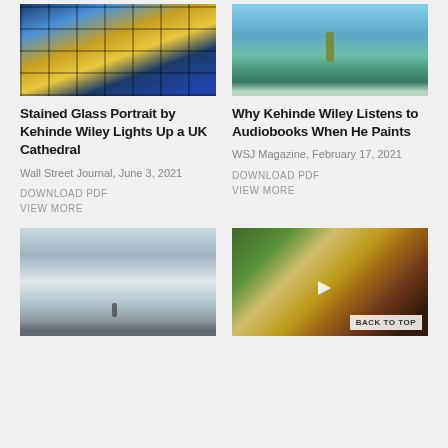[Figure (photo): Stained glass portrait artwork at a UK cathedral]
[Figure (photo): Person standing in shallow ocean water]
Stained Glass Portrait by Kehinde Wiley Lights Up a UK Cathedral
Why Kehinde Wiley Listens to Audiobooks When He Paints
Wall Street Journal, June 3, 2021
WSJ Magazine, February 17, 2021
DOWNLOAD PDF
VIEW MORE
DOWNLOAD PDF
VIEW MORE
[Figure (photo): Black and white photo of a person standing on a misty landscape]
[Figure (photo): Video thumbnail showing Kehinde Wiley with colorful artwork background]